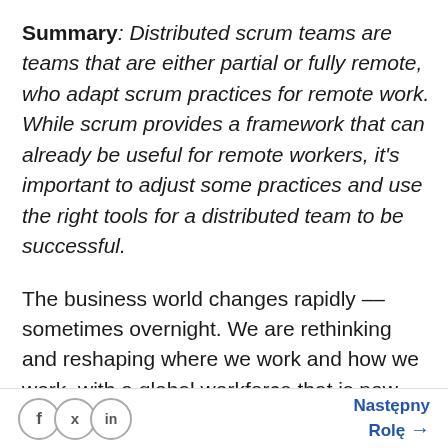Summary: Distributed scrum teams are teams that are either partial or fully remote, who adapt scrum practices for remote work. While scrum provides a framework that can already be useful for remote workers, it's important to adjust some practices and use the right tools for a distributed team to be successful.
The business world changes rapidly -- sometimes overnight. We are rethinking and reshaping where we work and how we work, with a global workforce that is now more distributed and remote than
Następny Rolę →